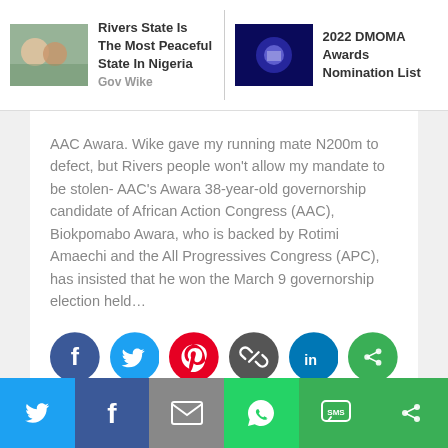[Figure (screenshot): Top navigation thumbnails: 'Rivers State Is The Most Peaceful State In Nigeria Gov Wike' and '2022 DMOMA Awards Nomination List']
AAC Awara. Wike gave my running mate N200m to defect, but Rivers people won't allow my mandate to be stolen- AAC's Awara 38-year-old governorship candidate of African Action Congress (AAC), Biokpomabo Awara, who is backed by Rotimi Amaechi and the All Progressives Congress (APC), has insisted that he won the March 9 governorship election held…
[Figure (infographic): Social media share icons: Facebook, Twitter, Pinterest, Link, LinkedIn, More]
[Figure (infographic): Bottom share bar with Twitter, Facebook, Email, WhatsApp, SMS, More icons]